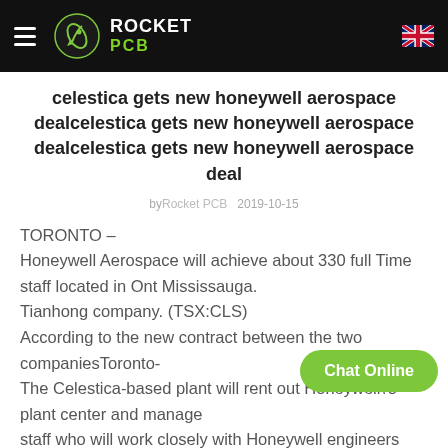Rocket PCB
celestica gets new honeywell aerospace dealcelestica gets new honeywell aerospace dealcelestica gets new honeywell aerospace deal
by Rocket PCB   2019-10-15
TORONTO –
Honeywell Aerospace will achieve about 330 full Time staff located in Ont Mississauga.
Tianhong company. (TSX:CLS)
According to the new contract between the two companiesToronto-
The Celestica-based plant will rent out Honeywell\'s plant center and manage... staff who will work closely with Honeywell engineers